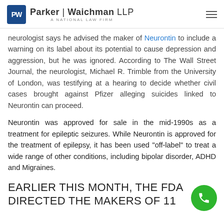Parker | Waichman LLP — A NATIONAL LAW FIRM
neurologist says he advised the maker of Neurontin to include a warning on its label about its potential to cause depression and aggression, but he was ignored. According to The Wall Street Journal, the neurologist, Michael R. Trimble from the University of London, was testifying at a hearing to decide whether civil cases brought against Pfizer alleging suicides linked to Neurontin can proceed.
Neurontin was approved for sale in the mid-1990s as a treatment for epileptic seizures. While Neurontin is approved for the treatment of epilepsy, it has been used "off-label" to treat a wide range of other conditions, including bipolar disorder, ADHD and Migraines.
EARLIER THIS MONTH, THE FDA DIRECTED THE MAKERS OF 11